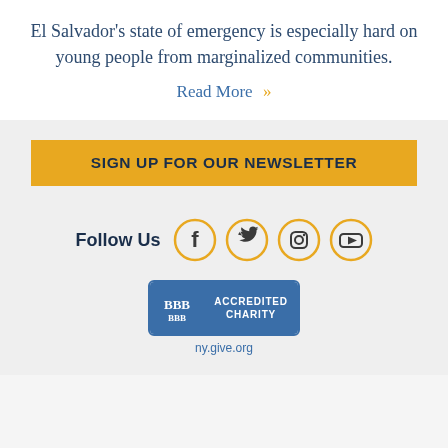El Salvador's state of emergency is especially hard on young people from marginalized communities.
Read More »
SIGN UP FOR OUR NEWSLETTER
Follow Us
[Figure (infographic): Social media icons in gold circles: Facebook, Twitter, Instagram, YouTube]
[Figure (logo): BBB Accredited Charity badge with blue background]
ny.give.org